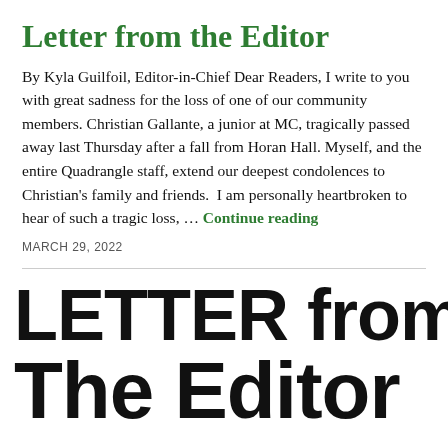Letter from the Editor
By Kyla Guilfoil, Editor-in-Chief Dear Readers, I write to you with great sadness for the loss of one of our community members. Christian Gallante, a junior at MC, tragically passed away last Thursday after a fall from Horan Hall. Myself, and the entire Quadrangle staff, extend our deepest condolences to Christian's family and friends.  I am personally heartbroken to hear of such a tragic loss, … Continue reading
MARCH 29, 2022
LETTER from The Editor